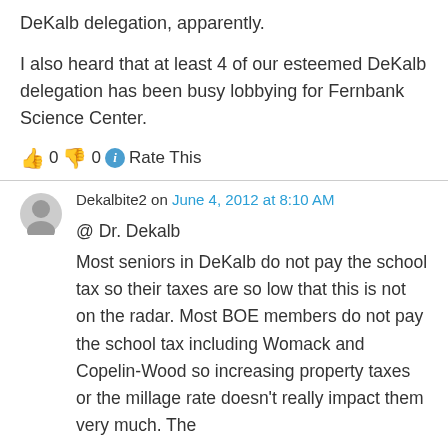DeKalb delegation, apparently.
I also heard that at least 4 of our esteemed DeKalb delegation has been busy lobbying for Fernbank Science Center.
👍 0 👎 0 ℹ Rate This
Dekalbite2 on June 4, 2012 at 8:10 AM
@ Dr. Dekalb
Most seniors in DeKalb do not pay the school tax so their taxes are so low that this is not on the radar. Most BOE members do not pay the school tax including Womack and Copelin-Wood so increasing property taxes or the millage rate doesn't really impact them very much. The